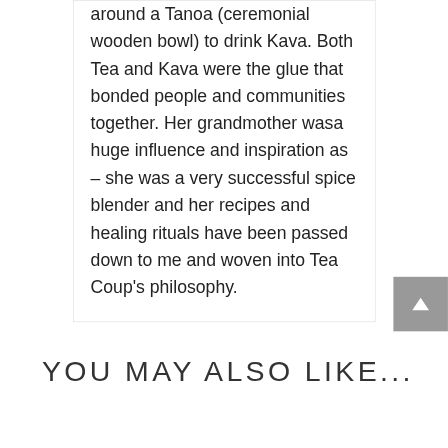around a Tanoa (ceremonial wooden bowl) to drink Kava. Both Tea and Kava were the glue that bonded people and communities together. Her grandmother wasa huge influence and inspiration as – she was a very successful spice blender and her recipes and healing rituals have been passed down to me and woven into Tea Coup's philosophy.
YOU MAY ALSO LIKE...